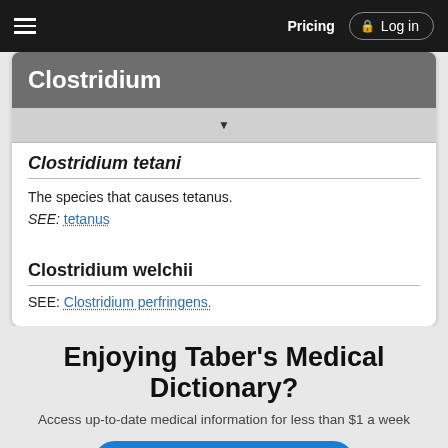Pricing  Log in
Clostridium
Clostridium tetani
The species that causes tetanus.
SEE: tetanus
Clostridium welchii
SEE: Clostridium perfringens.
Enjoying Taber’s Medical Dictionary?
Access up-to-date medical information for less than $1 a week
Purchase a subscription
I’m already a subscriber